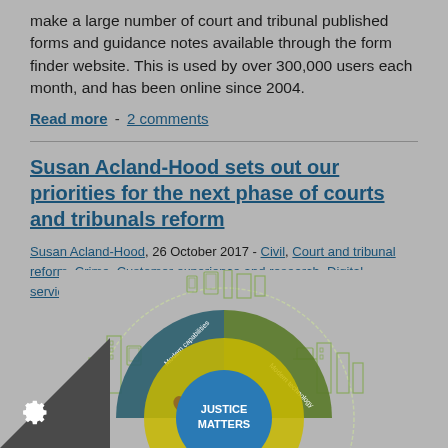make a large number of court and tribunal published forms and guidance notes available through the form finder website. This is used by over 300,000 users each month, and has been online since 2004.
Read more - 2 comments
Susan Acland-Hood sets out our priorities for the next phase of courts and tribunals reform
Susan Acland-Hood, 26 October 2017 - Civil, Court and tribunal reform, Crime, Customer experience and research, Digital services, Family, General, Tribunals
[Figure (infographic): Circular infographic showing 'Justice Matters' at the center, surrounded by segments including Modern capabilities and Modern technology, with illustrations of buildings, devices, and people around the outer ring.]